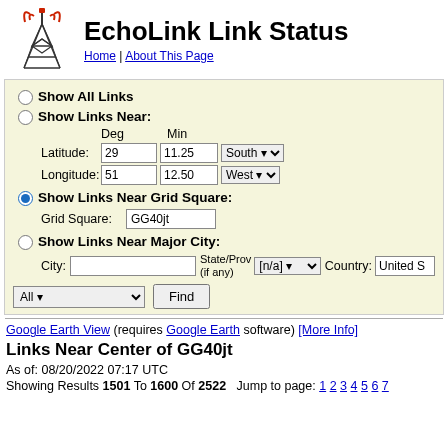EchoLink Link Status
Home | About This Page
Show All Links
Show Links Near:
Deg Min
Latitude: 29 11.25 South
Longitude: 51 12.50 West
Show Links Near Grid Square:
Grid Square: GG40jt
Show Links Near Major City:
City: State/Prov (if any) [n/a] Country: United S
All  Find
Google Earth View (requires Google Earth software) [More Info]
Links Near Center of GG40jt
As of: 08/20/2022 07:17 UTC
Showing Results 1501 To 1600 Of 2522   Jump to page: 1 2 3 4 5 6 7